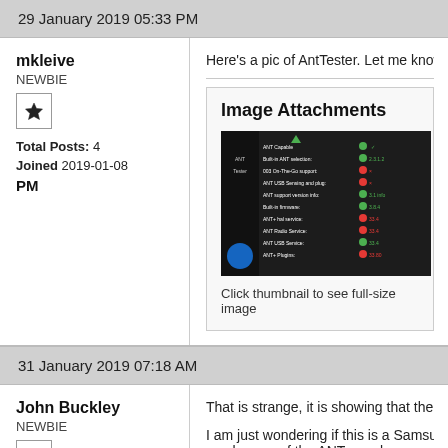29 January 2019 05:33 PM
mkleive
NEWBIE
Total Posts: 4
Joined 2019-01-08
PM
Here's a pic of AntTester. Let me know if you
Image Attachments
[Figure (screenshot): Screenshot thumbnail of AntTester app showing ANT capability information with colored text]
Click thumbnail to see full-size image
31 January 2019 07:18 AM
John Buckley
NEWBIE
That is strange, it is showing that the ANT ha
I am just wondering if this is a Samsung vers maybe one of the ANT people can correct thi